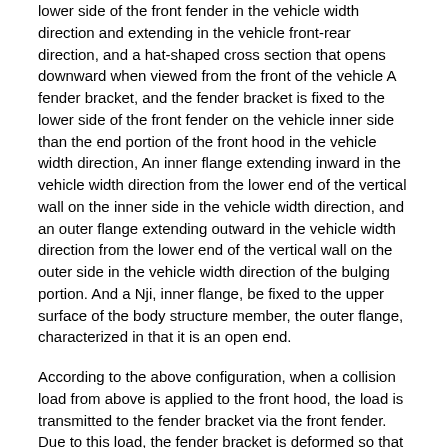lower side of the front fender in the vehicle width direction and extending in the vehicle front-rear direction, and a hat-shaped cross section that opens downward when viewed from the front of the vehicle A fender bracket, and the fender bracket is fixed to the lower side of the front fender on the vehicle inner side than the end portion of the front hood in the vehicle width direction, An inner flange extending inward in the vehicle width direction from the lower end of the vertical wall on the inner side in the vehicle width direction, and an outer flange extending outward in the vehicle width direction from the lower end of the vertical wall on the outer side in the vehicle width direction of the bulging portion. And a Nji, inner flange, be fixed to the upper surface of the body structure member, the outer flange, characterized in that it is an open end.
According to the above configuration, when a collision load from above is applied to the front hood, the load is transmitted to the fender bracket via the front fender. Due to this load, the fender bracket is deformed so that the outer flange serving as the release end and the vertical wall outside the vehicle continuous therewith move downward. Therefore, the front fender that is fixed to the